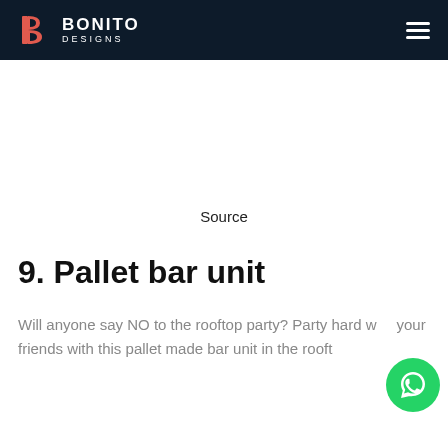BONITO DESIGNS
Source
9. Pallet bar unit
Will anyone say NO to the rooftop party? Party hard with your friends with this pallet made bar unit in the rooftop